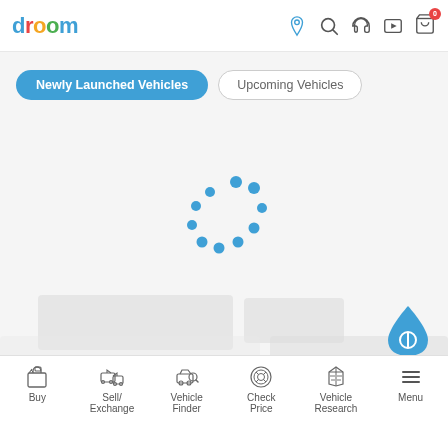droom header with logo and icons
Newly Launched Vehicles
Upcoming Vehicles
[Figure (other): Loading spinner made of blue dots arranged in a circular/arc pattern indicating content is loading]
[Figure (other): Droom floating action button - blue droplet shape with Droom logo icon]
Buy | Sell/Exchange | Vehicle Finder | Check Price | Vehicle Research | Menu